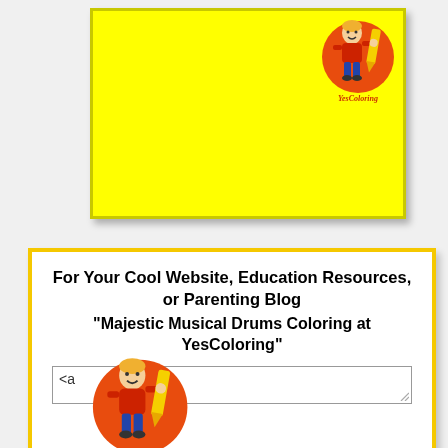[Figure (illustration): Yellow banner card with YesColoring logo (boy with crayon on orange circle) in top right corner]
[Figure (illustration): White card with yellow border containing title text, a textarea input with '<a', and YesColoring logo at bottom left]
For Your Cool Website, Education Resources, or Parenting Blog "Majestic Musical Drums Coloring at YesColoring"
<a